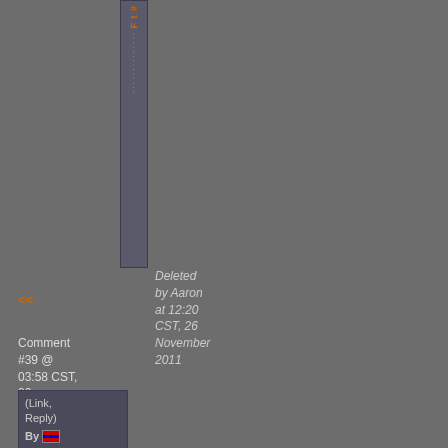[Figure (other): Vertical sidebar navigation element with orange and gray text]
Deleted by Aaron at 12:20 CST, 26 November 2011
<<
Comment #39 @ 03:58 CST, 26 November 2011 >>
(Link, Reply) By [flag]